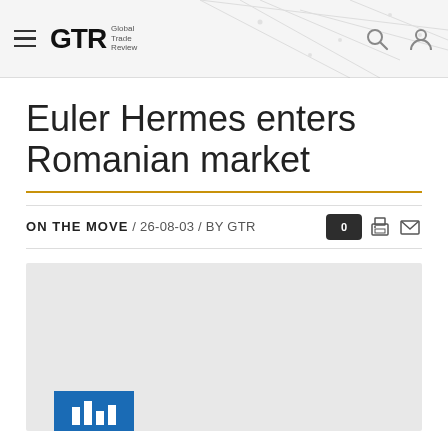GTR Global Trade Review
Euler Hermes enters Romanian market
ON THE MOVE / 26-08-03 / BY GTR
[Figure (photo): Partially visible article image with blue Euler Hermes logo/branding strip visible at the bottom]